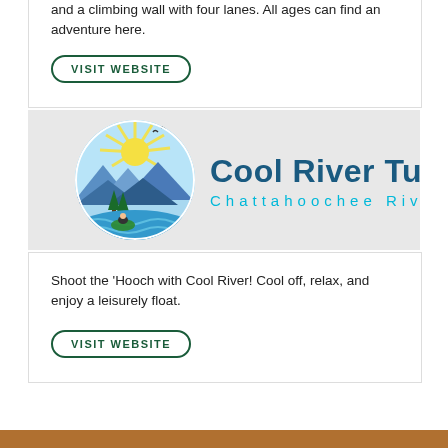and a climbing wall with four lanes. All ages can find an adventure here.
VISIT WEBSITE
[Figure (logo): Cool River Tubing logo with Chattahoochee River branding. Circular illustration showing mountains, sun rays, trees, river waves, and a person tubing. Text reads 'Cool River Tubing' in bold dark teal and 'Chattahoochee River' in spaced cyan letters.]
Shoot the 'Hooch with Cool River! Cool off, relax, and enjoy a leisurely float.
VISIT WEBSITE